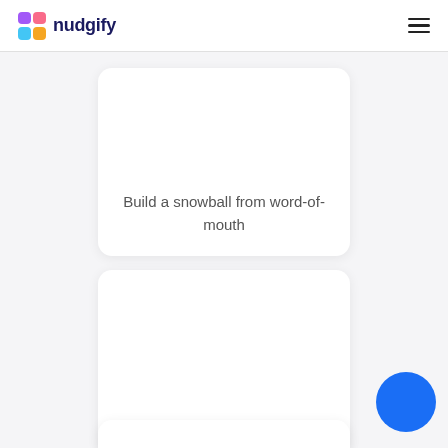nudgify
[Figure (illustration): White card with text: Build a snowball from word-of-mouth]
Build a snowball from word-of-mouth
[Figure (illustration): White card with text: Expand and explore new regions]
Expand and explore new regions